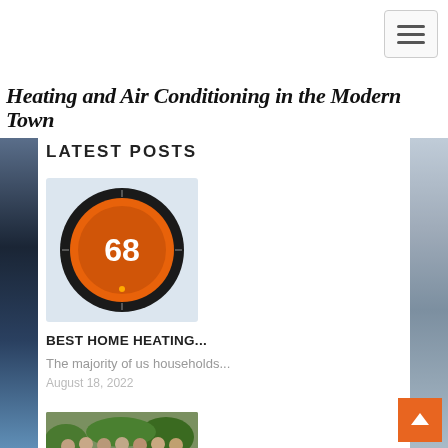[Figure (screenshot): Hamburger menu icon button with three horizontal lines, top right corner]
Heating and Air Conditioning in the Modern Town
LATEST POSTS
[Figure (photo): Nest smart thermostat showing 68 degrees on orange circular display]
BEST HOME HEATING...
The majority of us households...
August 18, 2022
[Figure (photo): Group photo of staff or team members in blue uniforms outdoors]
[Figure (screenshot): Orange scroll-to-top button with upward arrow, bottom right corner]